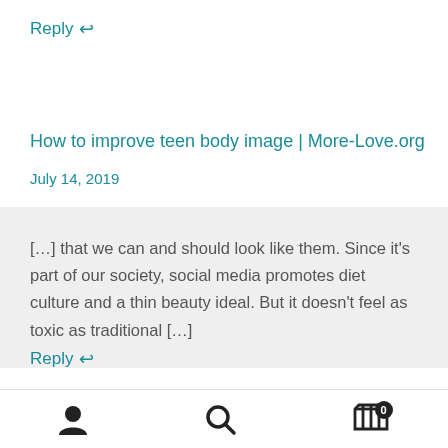Reply ↩
How to improve teen body image | More-Love.org
July 14, 2019
[…] that we can and should look like them. Since it's part of our society, social media promotes diet culture and a thin beauty ideal. But it doesn't feel as toxic as traditional […]
Reply ↩